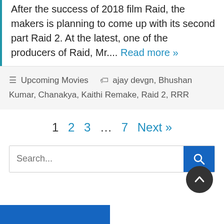After the success of 2018 film Raid, the makers is planning to come up with its second part Raid 2. At the latest, one of the producers of Raid, Mr.... Read more »
Upcoming Movies   ajay devgn, Bhushan Kumar, Chanakya, Kaithi Remake, Raid 2, RRR
1  2  3  ...  7  Next »
Search...